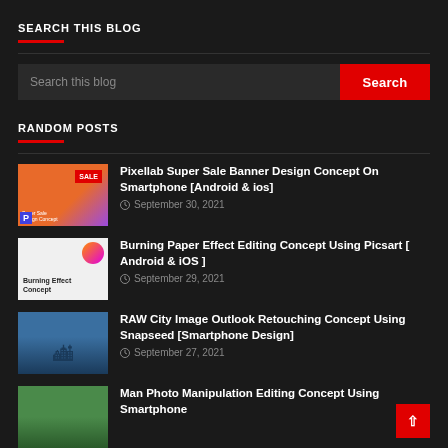SEARCH THIS BLOG
Search this blog
RANDOM POSTS
Pixellab Super Sale Banner Design Concept On Smartphone [Android & ios] — September 30, 2021
Burning Paper Effect Editing Concept Using Picsart [ Android & iOS ] — September 29, 2021
RAW City Image Outlook Retouching Concept Using Snapseed [Smartphone Design] — September 27, 2021
Man Photo Manipulation Editing Concept Using Smartphone